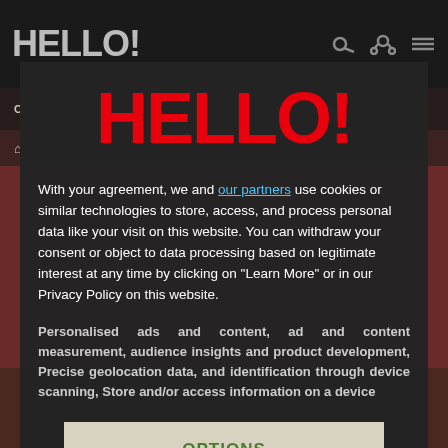[Figure (screenshot): HELLO! magazine website screenshot showing dark header with HELLO! logo, navigation bar with CELEBRITIES, HOMES, FOOD, and breadcrumb showing Celebrity News]
[Figure (logo): HELLO! magazine logo in large bold red text centered in modal overlay]
With your agreement, we and our partners use cookies or similar technologies to store, access, and process personal data like your visit on this website. You can withdraw your consent or object to data processing based on legitimate interest at any time by clicking on "Learn More" or in our Privacy Policy on this website.
Personalised ads and content, ad and content measurement, audience insights and product development, Precise geolocation data, and identification through device scanning, Store and/or access information on a device